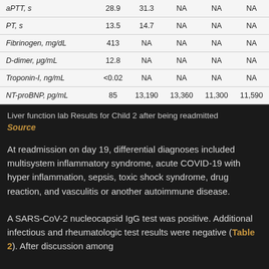|  |  |  |  |  |  |
| --- | --- | --- | --- | --- | --- |
| aPTT, s | 28.9 | 31.3 | NA | NA | NA |
| PT, s | 13.5 | 14.7 | NA | NA | NA |
| Fibrinogen, mg/dL | 413 | NA | NA | NA | NA |
| D-dimer, μg/mL | 12.8 | NA | NA | NA | NA |
| Troponin-I, ng/mL | <0.02 | NA | NA | NA | NA |
| NT-proBNP, pg/mL | 85 | 13,190 | 13,360 | 11,300 | 11,590 |
Liver function lab Results for Child 2 after being readmitted
Source
At readmission on day 19, differential diagnoses included multisystem inflammatory syndrome, acute COVID-19 with hyper inflammation, sepsis, toxic shock syndrome, drug reaction, and vasculitis or another autoimmune disease.
A SARS-CoV-2 nucleocapsid IgG test was positive. Additional infectious and rheumatologic test results were negative (Table 2). After discussion among